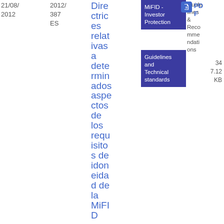21/08/2012
2012/387 ES
Directrices relativas a determinados aspectos de los requisitos de idoneidad de la MiFID
MiFID - Investor Protection
Guidelines and Technical standards
Guidelines & Recommendations
PDF
34
7.12 KB